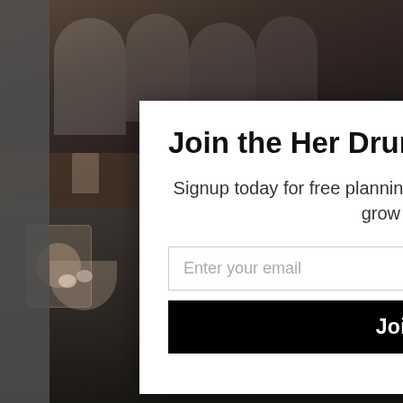[Figure (photo): Background showing two photos: top half shows people (women) sitting around a table in a dim setting, bottom half shows food/drink items on a table with pink-colored book/notebook visible. A modal popup overlay is displayed on top.]
Join the Her Drum sisterhood
Signup today for free planning resources to help your business grow and thrive
Enter your email
Join Now
powered by Mail